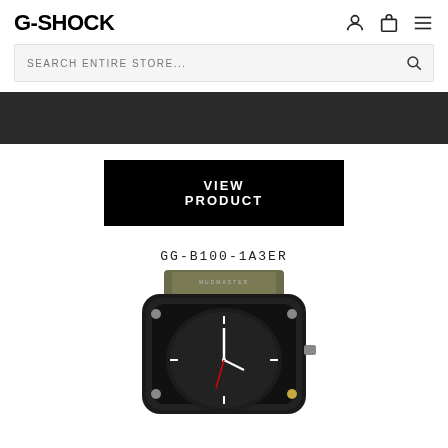G-SHOCK
SEARCH ENTIRE STORE...
[Figure (screenshot): Dark navigation banner]
VIEW PRODUCT
GG-B100-1A3ER
[Figure (photo): G-Shock GG-B100-1A3ER watch close-up showing the face with G-SHOCK branding, black carbon-fiber bezel, olive/khaki band, and gold accents]